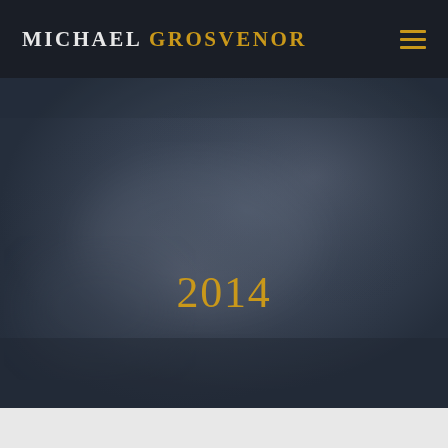Michael Grosvenor
[Figure (photo): Dark moody atmospheric background with muted blue-grey tones and soft foggy texture, resembling a misty forest or overcast sky]
2014